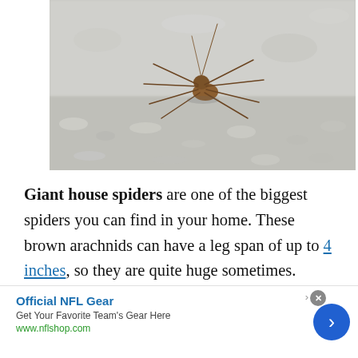[Figure (photo): Close-up photo of a brown long-legged spider (giant house spider) standing on a white fluffy carpet or rug, viewed from above and slightly to the side.]
Giant house spiders are one of the biggest spiders you can find in your home. These brown arachnids can have a leg span of up to 4 inches, so they are quite huge sometimes.
[Figure (other): Advertisement banner for Official NFL Gear. Shows 'Official NFL Gear' in blue bold text, 'Get Your Favorite Team's Gear Here' in gray, 'www.nflshop.com' in green, with a blue circular arrow button on the right. A close (x) button is in the top right and an info arrow icon is visible.]